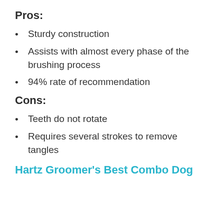Pros:
Sturdy construction
Assists with almost every phase of the brushing process
94% rate of recommendation
Cons:
Teeth do not rotate
Requires several strokes to remove tangles
Hartz Groomer’s Best Combo Dog